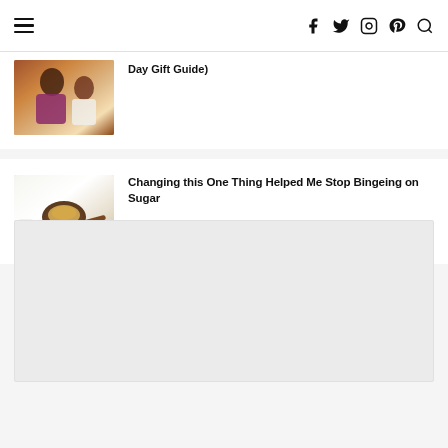Navigation bar with hamburger menu and social icons: Facebook, Twitter, Instagram, Pinterest, Search
Day Gift Guide)
[Figure (photo): Thumbnail photo of a woman and child smiling together, cropped partially visible]
[Figure (photo): Thumbnail photo of sugar cubes and a spoon with brown sugar on a white background]
Changing this One Thing Helped Me Stop Bingeing on Sugar